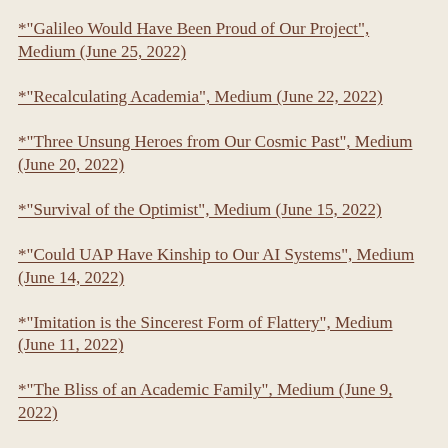*"Galileo Would Have Been Proud of Our Project", Medium (June 25, 2022)
*"Recalculating Academia", Medium (June 22, 2022)
*"Three Unsung Heroes from Our Cosmic Past", Medium (June 20, 2022)
*"Survival of the Optimist", Medium (June 15, 2022)
*"Could UAP Have Kinship to Our AI Systems", Medium (June 14, 2022)
*"Imitation is the Sincerest Form of Flattery", Medium (June 11, 2022)
*"The Bliss of an Academic Family", Medium (June 9, 2022)